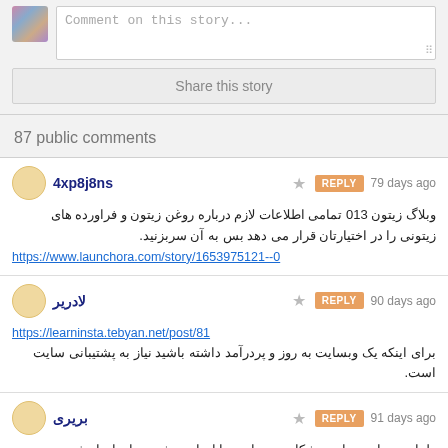Comment on this story...
Share this story
87 public comments
4xp8j8ns • REPLY • 79 days ago
وبلاگ زیتون 013 تمامی اطلاعات لازم درباره روغن زیتون و فراورده های زیتونی را در اختیارتان قرار می دهد بس به آن سربزنید.
https://www.launchora.com/story/1653975121--0
لادریر • REPLY • 90 days ago
https://learninsta.tebyan.net/post/81
برای اینکه یک وبسایت به روز و پردرآمد داشته باشید نیاز به پشتیبانی سایت است.
بریری • REPLY • 91 days ago
طراحی سایت برای پزشکان در سایت ما انجام میشود برای انجامش در خدمتیم09383126566
https://www.php-bb.ir/forum/viewtopic.php?f=100&t=1960
47475 • REPLY • 93 days ago
بهترین کیفیت روغن زیتون را از ما بخواهید برای خرید لینک زیر را لمس کنید09366110180